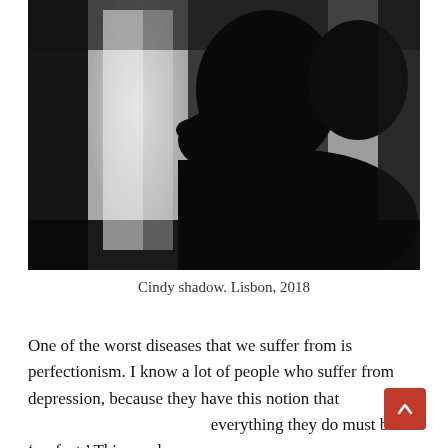[Figure (photo): Silhouette of a person's profile against a bright window, showing a dark shadow figure with head bowed, high contrast black and white photograph]
Cindy shadow. Lisbon, 2018
One of the worst diseases that we suffer from is perfectionism. I know a lot of people who suffer from depression, because they have this notion that everything they do must be ‘perfect.’ This paralyzes